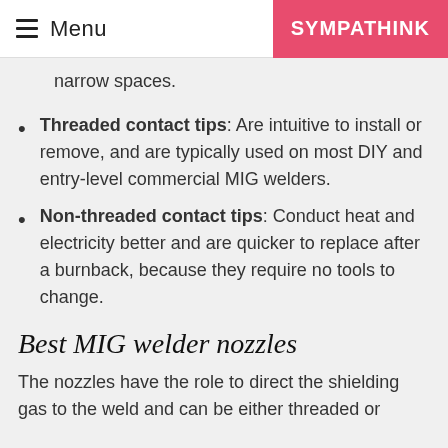Menu | SYMPATHINK
narrow spaces.
Threaded contact tips: Are intuitive to install or remove, and are typically used on most DIY and entry-level commercial MIG welders.
Non-threaded contact tips: Conduct heat and electricity better and are quicker to replace after a burnback, because they require no tools to change.
Best MIG welder nozzles
The nozzles have the role to direct the shielding gas to the weld and can be either threaded or